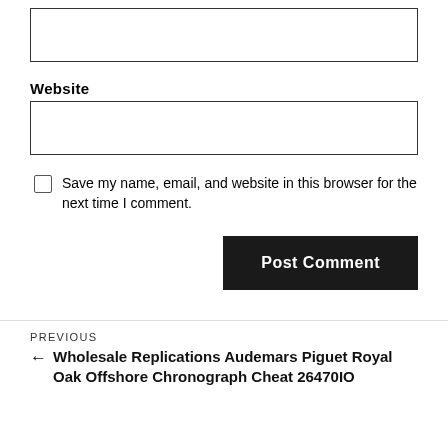[input box — top, empty]
Website
[input box — website, empty]
Save my name, email, and website in this browser for the next time I comment.
Post Comment
PREVIOUS
← Wholesale Replications Audemars Piguet Royal Oak Offshore Chronograph Cheat 26470IO